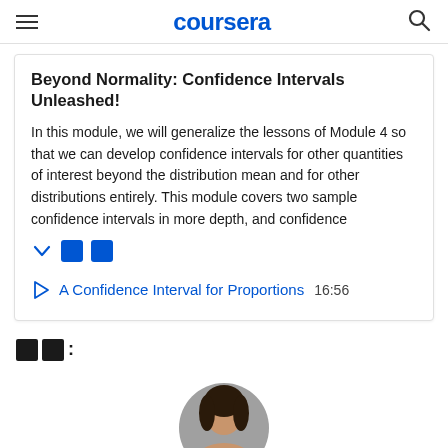coursera
Beyond Normality: Confidence Intervals Unleashed!
In this module, we will generalize the lessons of Module 4 so that we can develop confidence intervals for other quantities of interest beyond the distribution mean and for other distributions entirely. This module covers two sample confidence intervals in more depth, and confidence
A Confidence Interval for Proportions  16:56
☒ ☒:
[Figure (photo): Circular avatar/profile photo of a person with dark hair, partially visible at bottom of page]